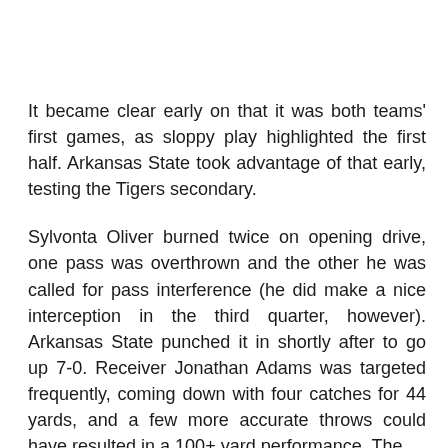It became clear early on that it was both teams' first games, as sloppy play highlighted the first half. Arkansas State took advantage of that early, testing the Tigers secondary.
Sylvonta Oliver burned twice on opening drive, one pass was overthrown and the other he was called for pass interference (he did make a nice interception in the third quarter, however). Arkansas State punched it in shortly after to go up 7-0. Receiver Jonathan Adams was targeted frequently, coming down with four catches for 44 yards, and a few more accurate throws could have resulted in a 100+ yard performance. The